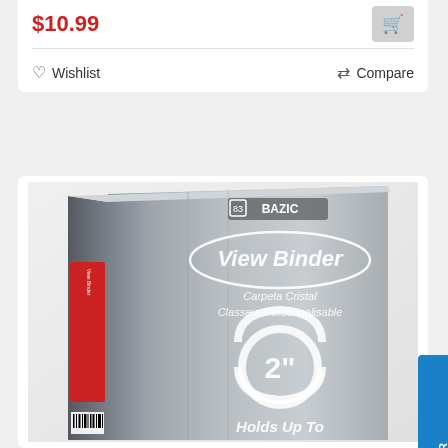$10.99
Wishlist
Compare
[Figure (photo): BAZIC View Binder product photo — a gray 2-inch 3-ring view binder with red label on spine, showing brand logo, 'View Binder', 'Carpeta Cristal', 'Classeur Personnalisable', '2"' ring size graphic, and 'Holds Up To' text at bottom]
FILTER